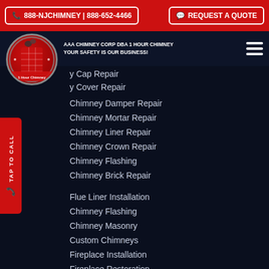📞 888-NJCHIMNEY | 888-652-4466   REQUEST A QUOTE
[Figure (logo): 1 Hour Chimney circular logo with red and gray design]
AAA CHIMNEY CORP dba 1 HOUR CHIMNEY
YOUR SAFETY IS OUR BUSINESS!
y Cap Repair
y Cover Repair
Chimney Damper Repair
Chimney Mortar Repair
Chimney Liner Repair
Chimney Crown Repair
Chimney Flashing
Chimney Brick Repair
Flue Liner Installation
Chimney Flashing
Chimney Masonry
Custom Chimneys
Fireplace Installation
Fireplace Restoration